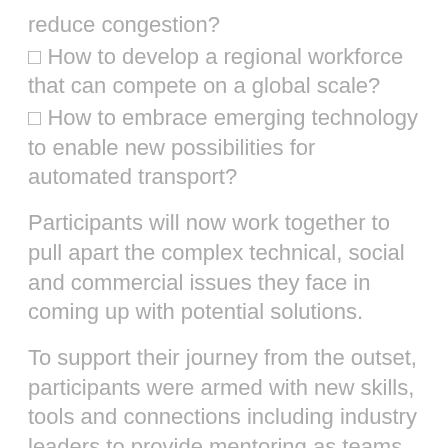reduce congestion?
□ How to develop a regional workforce that can compete on a global scale?
□ How to embrace emerging technology to enable new possibilities for automated transport?
Participants will now work together to pull apart the complex technical, social and commercial issues they face in coming up with potential solutions.
To support their journey from the outset, participants were armed with new skills, tools and connections including industry leaders to provide mentoring as teams grapple with new ways of working.
Signs are promising with teams sticking around after the launch to make sure they were connected.
Industry leaders also took the opportunity to strike